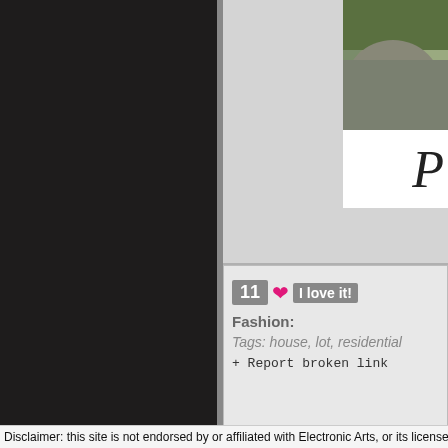[Figure (screenshot): Dark left navigation panel of a website]
[Figure (photo): Partial photo of rocks/greenery in top-right area]
P
11 ❤ I love it!
Fashion:
Tags: house, lot, residential
+ Report broken link
Disclaimer: this site is not endorsed by or affiliated with Electronic Arts, or its license